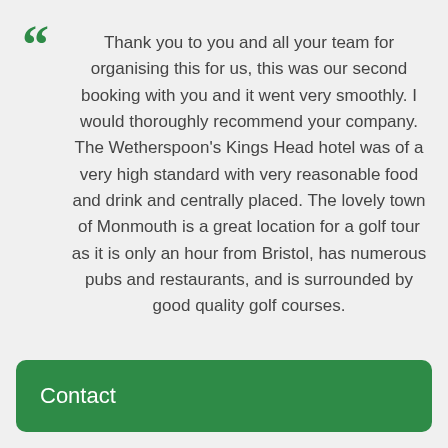Thank you to you and all your team for organising this for us, this was our second booking with you and it went very smoothly. I would thoroughly recommend your company. The Wetherspoon's Kings Head hotel was of a very high standard with very reasonable food and drink and centrally placed. The lovely town of Monmouth is a great location for a golf tour as it is only an hour from Bristol, has numerous pubs and restaurants, and is surrounded by good quality golf courses.
Contact